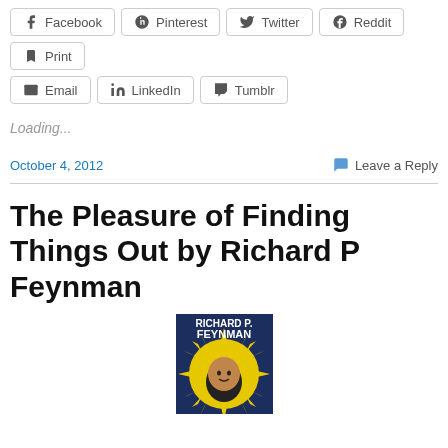Facebook Pinterest Twitter Reddit Print Email LinkedIn Tumblr
Loading...
October 4, 2012
Leave a Reply
The Pleasure of Finding Things Out by Richard P Feynman
[Figure (photo): Book cover of 'The Pleasure of Finding Things Out' by Richard P. Feynman, showing the author's name in bold text with a starburst/explosion graphic and a face at the bottom]